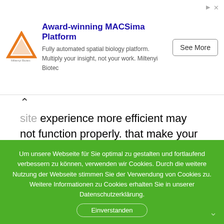[Figure (other): Advertisement banner for MACSima Platform by Miltenyi Biotec. Shows a logo, bold title 'Award-winning MACSima Platform', subtitle text 'Fully automated spatial biology platform. Multiply your insight, not your work. Miltenyi Biotec', and a 'See More' button.]
site experience more efficient may not function properly. that make your site experience more efficient and may not function properly.
Third-party disclosure
We do not sell, trade, or otherwise transfer to outside parties
Um unsere Webseite für Sie optimal zu gestalten und fortlaufend verbessern zu können, verwenden wir Cookies. Durch die weitere Nutzung der Webseite stimmen Sie der Verwendung von Cookies zu. Weitere Informationen zu Cookies erhalten Sie in unserer Datenschutzerklärung.
Einverstanden